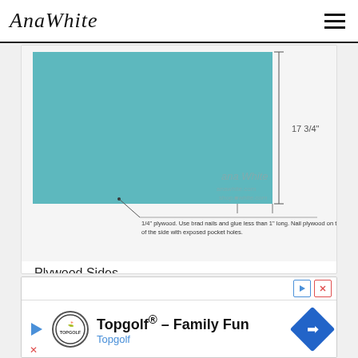AnaWhite
[Figure (engineering-diagram): Engineering diagram showing a teal/turquoise rectangular plywood panel with a dimension annotation of 17 3/4" on the right side. A callout line points to the lower-left area with text: '1/4" plywood. Use brad nails and glue less than 1" long. Nail plywood on the inside of the side with exposed pocket holes.' A watermark reads 'ana White anawhite.com shop.white.com'.]
Plywood Sides
Add the plywood to the sides as shown above. Use 3/4" brad nails and wood glue to attach.